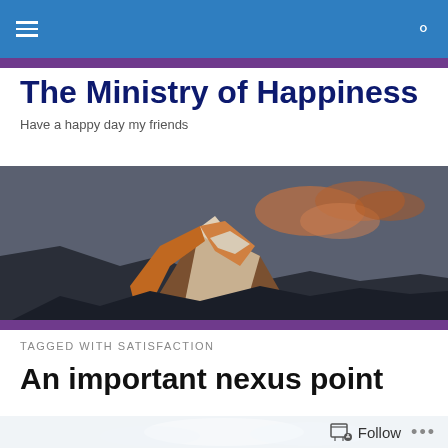The Ministry of Happiness — navigation bar with hamburger menu and search icon
The Ministry of Happiness
Have a happy day my friends
[Figure (photo): Mountain peak with snow and orange/golden light at dusk with clouds around the summit against a grey-blue sky]
TAGGED WITH SATISFACTION
An important nexus point
[Figure (photo): Partial view of another image at the bottom of the page, partially obscured by follow bar]
Follow  •••